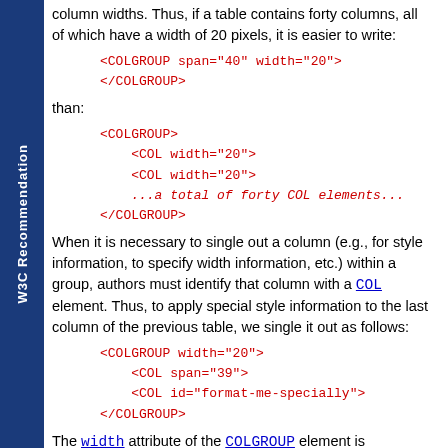column widths. Thus, if a table contains forty columns, all of which have a width of 20 pixels, it is easier to write:
<COLGROUP span="40" width="20">
</COLGROUP>
than:
<COLGROUP>
    <COL width="20">
    <COL width="20">
    ...a total of forty COL elements...
</COLGROUP>
When it is necessary to single out a column (e.g., for style information, to specify width information, etc.) within a group, authors must identify that column with a COL element. Thus, to apply special style information to the last column of the previous table, we single it out as follows:
<COLGROUP width="20">
    <COL span="39">
    <COL id="format-me-specially">
</COLGROUP>
The width attribute of the COLGROUP element is